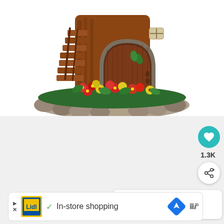[Figure (photo): A decorative fairy house figurine made of resin, featuring a rounded arched wooden door, a small window, wooden staircase, colorful red and yellow flowers, green foliage, and a stone base border. The figurine is photographed against a white background.]
[Figure (screenshot): A mobile web interface showing: a teal heart/like button with 1.3K count, a share button, a 'WHAT'S NEXT' recommendation card showing 'How and When to Wat...' with a thumbnail image, and an advertisement bar at the bottom showing Lidl logo, a checkmark, 'In-store shopping' text, a navigation/maps icon, and Waze icon.]